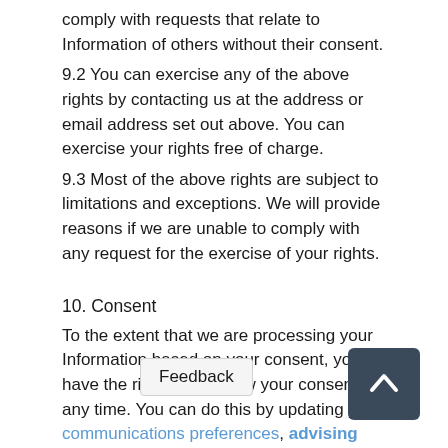comply with requests that relate to Information of others without their consent.
9.2 You can exercise any of the above rights by contacting us at the address or email address set out above. You can exercise your rights free of charge.
9.3 Most of the above rights are subject to limitations and exceptions. We will provide reasons if we are unable to comply with any request for the exercise of your rights.
10. Consent
To the extent that we are processing your Information based on your consent, you have the right to withdraw your consent at any time. You can do this by updating your communications preferences, advising our office, or by unsubscribing via the link provided in any ShareSoc communication (but note that using the unsubscribe link may also have the effect of terminating your memb
11. H your personal data